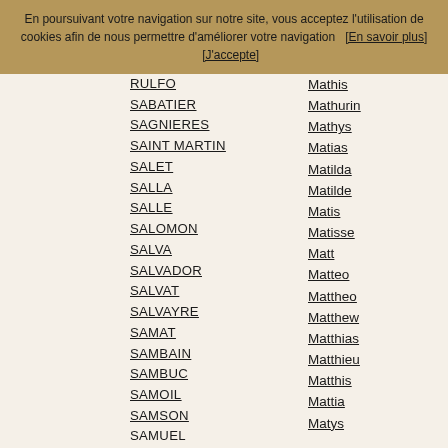En poursuivant votre navigation sur notre site, vous acceptez l'utilisation de cookies afin de nous permettre d'améliorer votre navigation   [En savoir plus]       [J'accepte]
RULFO / Mathis
SABATIER / Mathurin
SAGNIERES / Mathys
SAINT MARTIN / Matias
SALET / Matilda
SALLA / Matilde
SALLE / Matis
SALOMON / Matisse
SALVA / Matt
SALVADOR / Matteo
SALVAT / Mattheo
SALVAYRE / Matthew
SAMAT / Matthias
SAMBAIN / Matthieu
SAMBUC / Matthis
SAMOIL / Mattia
SAMSON / Matys
SAMUEL / Maud
SANCHEZ / Maude
SANDRE / Maureen
SANGUILLON / Maurice
SANIERES / Mauricette